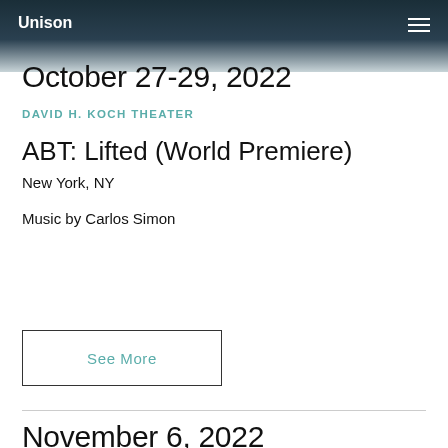Unison
October 27-29, 2022
DAVID H. KOCH THEATER
ABT: Lifted (World Premiere)
New York, NY
Music by Carlos Simon
See More
November 6, 2022